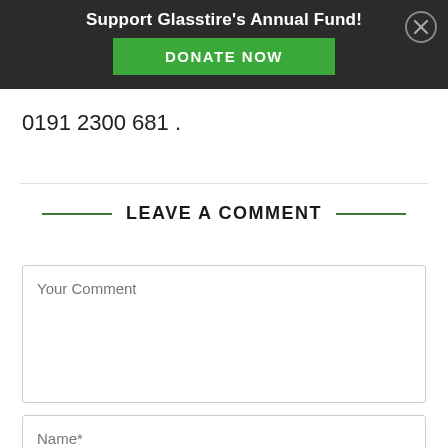Support Glasstire's Annual Fund! DONATE NOW
0191 2300 681 .
LEAVE A COMMENT
Your Comment
Name*